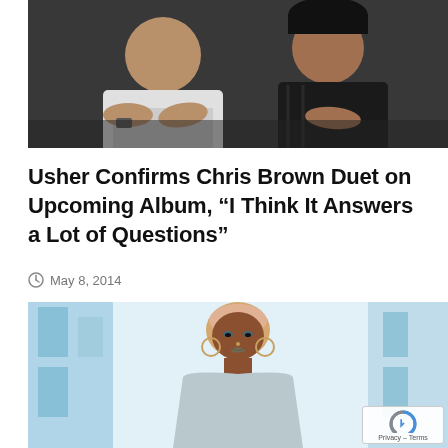[Figure (photo): Two men sitting side by side, one wearing a white hoodie and the other in a dark jacket, photographed from the waist up]
Usher Confirms Chris Brown Duet on Upcoming Album, “I Think It Answers a Lot of Questions”
May 8, 2014
[Figure (photo): A young Black woman with a shaved head dyed pink, wearing hoop earrings and a light grey top, photographed outdoors against a blurred light blue background]
Privacy – Terms